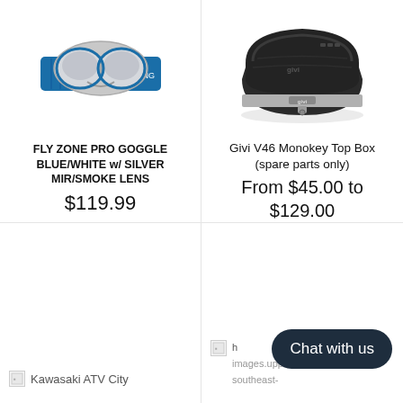[Figure (photo): Fly Racing Zone Pro Goggle in blue/white with silver mirror/smoke lens]
FLY ZONE PRO GOGGLE BLUE/WHITE w/ SILVER MIR/SMOKE LENS
$119.99
[Figure (photo): Givi V46 Monokey Top Box in black with silver trim]
Givi V46 Monokey Top Box (spare parts only)
From $45.00 to $129.00
Kawasaki ATV City
images.upper.s3-ap-southeast-
Chat with us